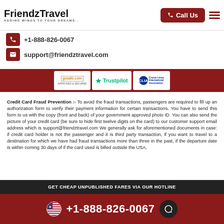[Figure (logo): Friendz Travel logo with tagline ADDING WINGS TO YOUR DREAMS..]
Call Us
+1-888-826-0067
support@friendztravel.com
[Figure (logo): Trust badges: gosafe.com / APPROVED & SECURED, Trustpilot, CLIA Cruise Lines International Association]
Credit Card Fraud Prevention :- To avoid the fraud transactions, passengers are required to fill up an authorization form to verify their payment information for certain transactions. You have to send this form to us with the copy (front and back) of your government approved photo ID. You can also send the picture of your credit card (be sure to hide first twelve digits on the card) to our customer support email address which is support@friendztravel.com We generally ask for aforementioned documents in case: if credit card holder is not the passenger and it is third party transaction, if you want to travel to a destination for which we have had fraud transactions more than three in the past, if the departure date is within coming 30 days of if the card used is billed outside the USA.
GET CHEAP UNPUBLISHED FARES VIA OUR HOTLINE
+1-888-826-0067